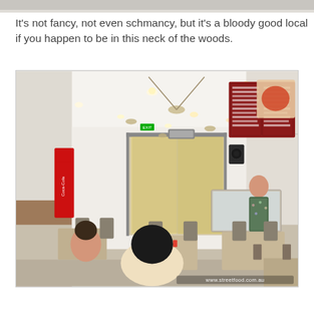[Figure (photo): Partial view of a previous image at the very top of the page, cropped strip]
It's not fancy, not even schmancy, but it's a bloody good local if you happen to be in this neck of the woods.
[Figure (photo): Interior of a casual local restaurant/cafe. The room has a white ceiling with multiple pendant lights and ceiling fans. On the right wall is a red menu board with food photographs. A worker in a floral shirt stands behind a display counter on the right. Customers are seated at tables in the foreground. A glass sliding door at the back opens to a sunny street. A Coca-Cola branded display is visible on the left. The watermark 'www.streetfood.com.au' appears at bottom right.]